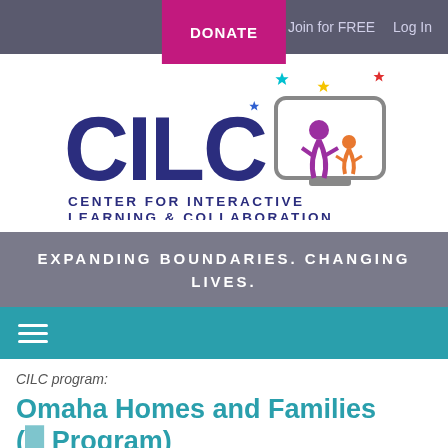DONATE  Join for FREE  Log In
[Figure (logo): CILC - Center for Interactive Learning & Collaboration logo with colorful figures and stars]
EXPANDING BOUNDARIES. CHANGING LIVES.
[Figure (other): Hamburger menu icon on teal navigation bar]
CILC program:
Omaha Homes and Families (P... Program)
by  The Durham Museum